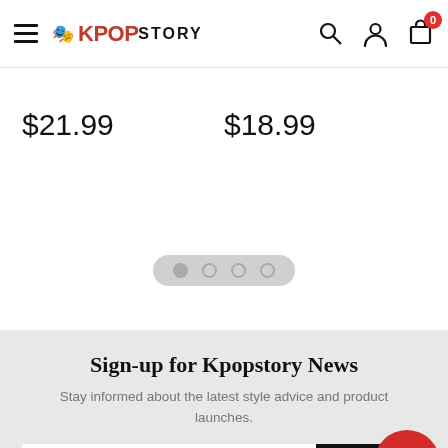KPOP STORY — navigation bar with hamburger menu, logo, search, user, and cart icons
$21.99
$18.99
[Figure (other): Carousel pagination dots — 4 circles in a pill, first dot active/filled]
Sign-up for Kpopstory News
Stay informed about the latest style advice and product launches.
[Figure (other): Email signup form with 'Your email address' input and 'SUB' (submit) black button with red star overlay button]